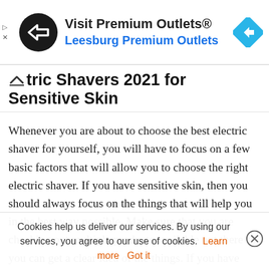[Figure (screenshot): Advertisement banner for Visit Premium Outlets® – Leesburg Premium Outlets with circular black logo and blue map direction icon]
Electric Shavers 2021 for Sensitive Skin
Whenever you are about to choose the best electric shaver for yourself, you will have to focus on a few basic factors that will allow you to choose the right electric shaver. If you have sensitive skin, then you should always focus on the things that will help you in the best way possible. Make sure that you are checking out multiple products available out there so you can get a clear idea of the things. If you have sensitive skin, then you should know that there are a couple of brands that you should consider before purchasing an electric shaver
Cookies help us deliver our services. By using our services, you agree to our use of cookies. Learn more   Got it